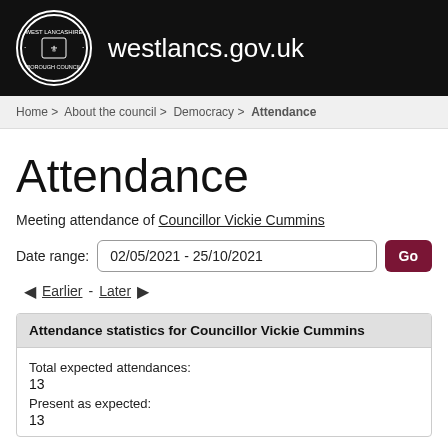westlancs.gov.uk
Home > About the council > Democracy > Attendance
Attendance
Meeting attendance of Councillor Vickie Cummins
Date range: 02/05/2021 - 25/10/2021
Earlier - Later
| Attendance statistics for Councillor Vickie Cummins |
| --- |
| Total expected attendances: |  |
| 13 |  |
| Present as expected: |  |
| 13 |  |